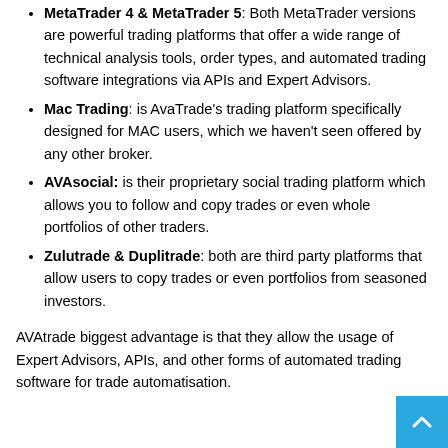MetaTrader 4 & MetaTrader 5: Both MetaTrader versions are powerful trading platforms that offer a wide range of technical analysis tools, order types, and automated trading software integrations via APIs and Expert Advisors.
Mac Trading: is AvaTrade's trading platform specifically designed for MAC users, which we haven't seen offered by any other broker.
AVAsocial: is their proprietary social trading platform which allows you to follow and copy trades or even whole portfolios of other traders.
Zulutrade & Duplitrade: both are third party platforms that allow users to copy trades or even portfolios from seasoned investors.
AVAtrade biggest advantage is that they allow the usage of Expert Advisors, APIs, and other forms of automated trading software for trade automatisation.